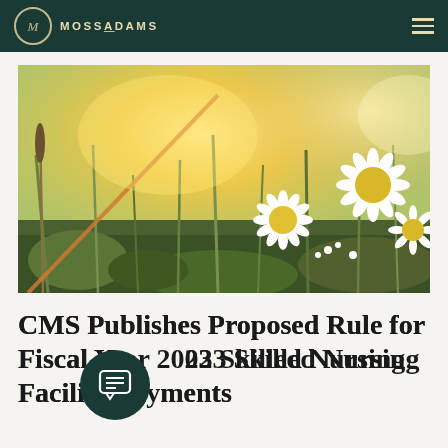MOSSADAMS
[Figure (photo): Outdoor nature photo of wildflowers including daisies in a field with warm golden sunlight in the background]
CMS Publishes Proposed Rule for Fiscal Year 2023 Skilled Nursing Facility Payments